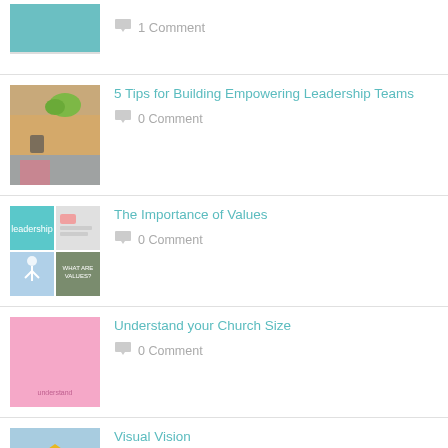1 Comment
5 Tips for Building Empowering Leadership Teams — 0 Comment
The Importance of Values — 0 Comment
Understand your Church Size — 0 Comment
Visual Vision — 0 Comment